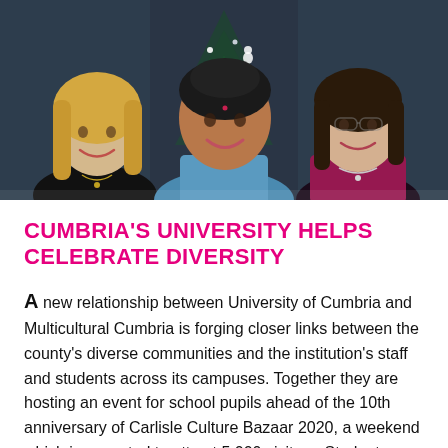[Figure (photo): Three women smiling together in front of a decorated Christmas tree with white ornaments and lights]
CUMBRIA'S UNIVERSITY HELPS CELEBRATE DIVERSITY
A new relationship between University of Cumbria and Multicultural Cumbria is forging closer links between the county's diverse communities and the institution's staff and students across its campuses. Together they are hosting an event for school pupils ahead of the 10th anniversary of Carlisle Culture Bazaar 2020, a weekend which is expected to attract 5,000 visitors. Students from the university's London campus are also taking part, some of whom will be visiting Carlisle for